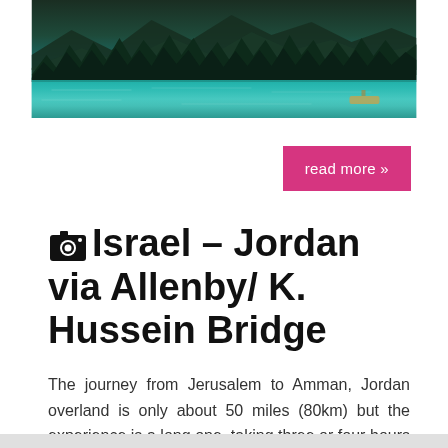[Figure (photo): Scenic lake or river surrounded by dense evergreen forest and mountains, with teal-blue water reflecting the trees]
read more »
📷 Israel – Jordan via Allenby/ K. Hussein Bridge
The journey from Jerusalem to Amman, Jordan overland is only about 50 miles (80km) but the experience is a long one, taking three or four hours by way of the Allenby/King Hussein Bridge that spans the Jordan River between Israel and Jordan. In Israel, coming and going, there are at least three checkpoints and numerous